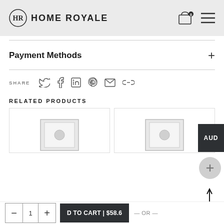HOME ROYALE
Payment Methods
SHARE
RELATED PRODUCTS
[Figure (screenshot): Two related product cards showing framed picture product thumbnails]
— OR —